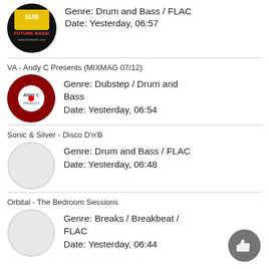Genre: Drum and Bass / FLAC
Date: Yesterday, 06:57
VA - Andy C Presents (MIXMAG 07/12)
Genre: Dubstep / Drum and Bass
Date: Yesterday, 06:54
Sonic & Silver - Disco D'n'B
Genre: Drum and Bass / FLAC
Date: Yesterday, 06:48
Orbital - The Bedroom Sessions
Genre: Breaks / Breakbeat / FLAC
Date: Yesterday, 06:44